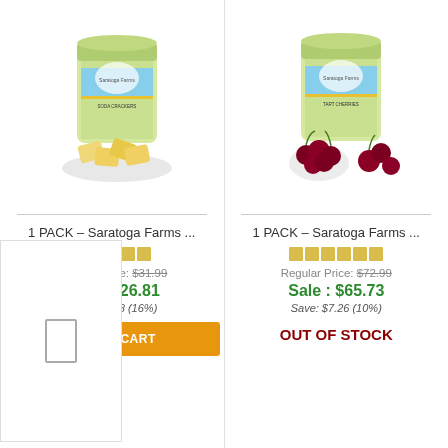[Figure (photo): Saratoga Farms crackers product - can with crackers on plate]
1 PACK – Saratoga Farms ...
Regular Price: $31.99
Sale : $26.81
Save: $5.18 (16%)
ADD TO CART
[Figure (photo): Saratoga Farms tart cherries product - can with cherries in bowl]
1 PACK – Saratoga Farms ...
Regular Price: $72.99
Sale : $65.73
Save: $7.26 (10%)
OUT OF STOCK